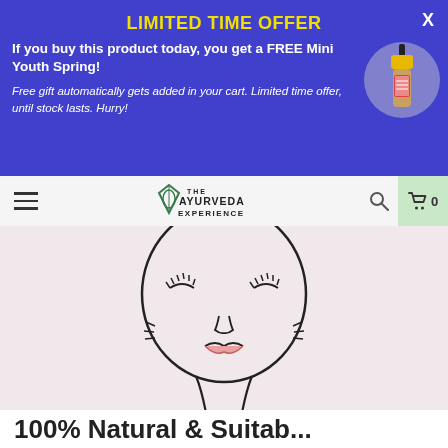LIMITED TIME OFFER
If you buy this product today, you get a FREE Mini Youth Spring!
Free gift automatically gets added in your cart.  Limited time offer, until stock lasts. Hurry!
[Figure (illustration): Small dropper bottle with yellow cap, product image in circular frame]
[Figure (logo): The Ayurveda Experience logo with leaf/diamond icon]
[Figure (illustration): Line art illustration of a woman's face and neck with closed eyes and slight lips, on a pink background]
100% Natural & Suitab...